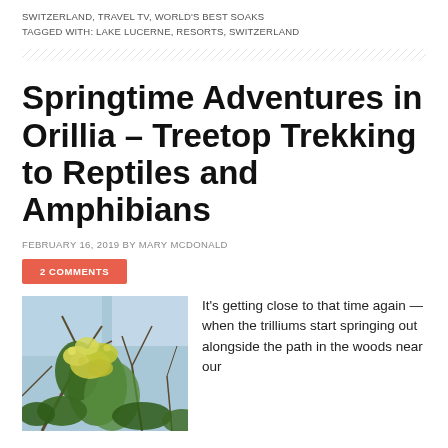SWITZERLAND, TRAVEL TV, WORLD'S BEST SOAKS
TAGGED WITH: LAKE LUCERNE, RESORTS, SWITZERLAND
Springtime Adventures in Orillia – Treetop Trekking to Reptiles and Amphibians
FEBRUARY 16, 2019 BY MARY MCDONALD
2 COMMENTS
[Figure (photo): Springtime flowering tree with yellow-green blossoms against a backdrop of bare trees and blue sky]
It's getting close to that time again — when the trilliums start springing out alongside the path in the woods near our